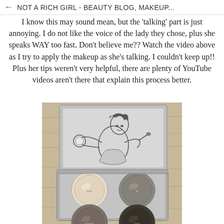NOT A RICH GIRL - BEAUTY BLOG, MAKEUP...
I know this may sound mean, but the 'talking' part is just annoying. I do not like the voice of the lady they chose, plus she speaks WAY too fast. Don't believe me?? Watch the video above as I try to apply the makeup as she's talking. I couldn't keep up!! Plus her tips weren't very helpful, there are plenty of YouTube videos aren't there that explain this process better.
[Figure (photo): An open makeup eyeshadow palette with a decorative lid featuring a line drawing of a woman applying makeup. The palette contains four eyeshadow pans in neutral shades: a light beige/champagne, a medium grey-taupe, a deeper brown-grey, and a dark charcoal/black. The palette is sitting on a light wooden surface.]